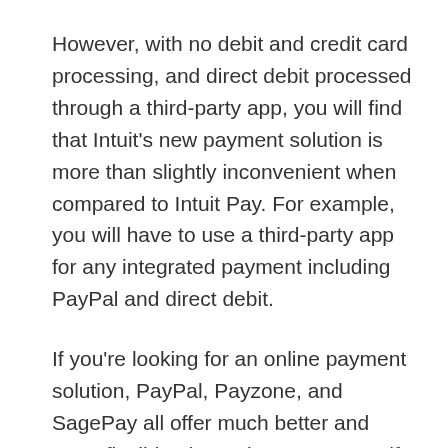However, with no debit and credit card processing, and direct debit processed through a third-party app, you will find that Intuit's new payment solution is more than slightly inconvenient when compared to Intuit Pay. For example, you will have to use a third-party app for any integrated payment including PayPal and direct debit.
If you're looking for an online payment solution, PayPal, Payzone, and SagePay all offer much better and more flexible alternatives. However, if you only intend to use direct debiting and invoice, QuickBooks includes a lot of extras that will help you manage your business and bookkeeping, plus comparatively low transaction rates capped at